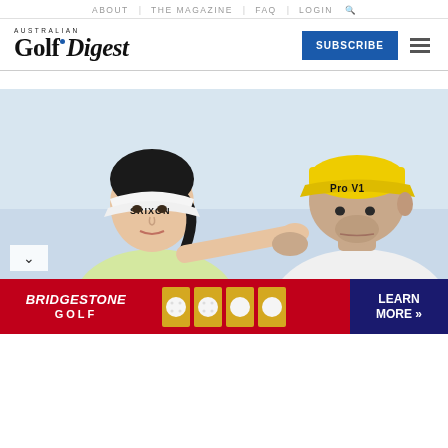ABOUT | THE MAGAZINE | FAQ | LOGIN
[Figure (logo): Australian Golf Digest logo with blue dot]
[Figure (photo): Two golfers, a young Asian woman wearing a Srixon visor and a man wearing a yellow Pro V1 cap, appear to be discussing or gesturing on a golf course]
[Figure (other): Bridgestone Golf advertisement banner with red background showing Bridgestone Golf logo and ball products with LEARN MORE text]